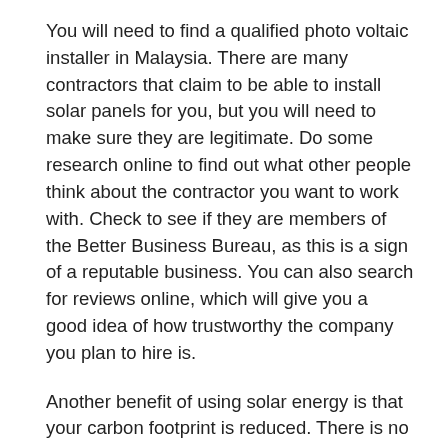You will need to find a qualified photo voltaic installer in Malaysia. There are many contractors that claim to be able to install solar panels for you, but you will need to make sure they are legitimate. Do some research online to find out what other people think about the contractor you want to work with. Check to see if they are members of the Better Business Bureau, as this is a sign of a reputable business. You can also search for reviews online, which will give you a good idea of how trustworthy the company you plan to hire is.
Another benefit of using solar energy is that your carbon footprint is reduced. There is no reason to rely on fossil fuels any longer when there is such a readily available source of renewable energy. Using solar power allows you to do your part to help the environment by saving energy, avoiding emissions of pollution, and even eliminating your home's carbon footprint. When you are able to reduce your impact